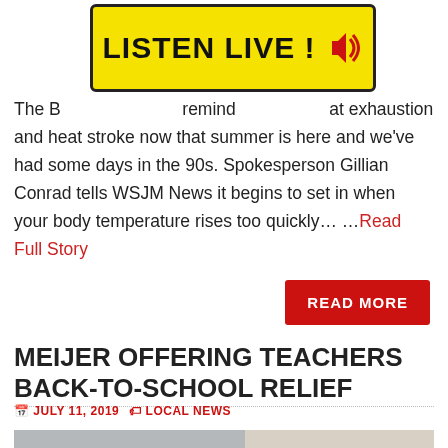[Figure (logo): LISTEN LIVE! banner with yellow background, black border, bold text and red speaker icon]
The B... remind... at exhaustion and heat stroke now that summer is here and we've had some days in the 90s. Spokesperson Gillian Conrad tells WSJM News it begins to set in when your body temperature rises too quickly... ...Read Full Story
READ MORE
MEIJER OFFERING TEACHERS BACK-TO-SCHOOL RELIEF
JULY 11, 2019   LOCAL NEWS
[Figure (photo): Partial photo of classroom or school supply area, showing white vertical elements against a light background]